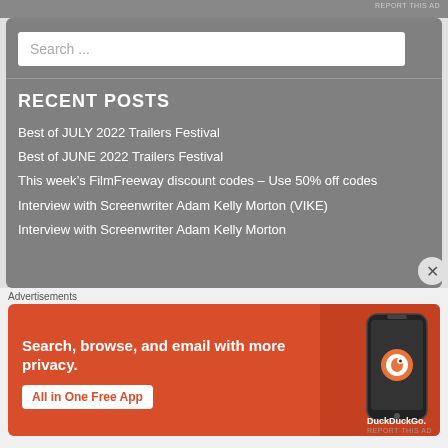REPORT THIS AD
Search ...
RECENT POSTS
Best of JULY 2022 Trailers Festival
Best of JUNE 2022 Trailers Festival
This week's FilmFreeway discount codes – Use 50% off codes
Interview with Screenwriter Adam Kelly Morton (VIKE)
Interview with Screenwriter Adam Kelly Morton
Advertisements
[Figure (screenshot): DuckDuckGo advertisement banner showing a smartphone with the text 'Search, browse, and email with more privacy. All in One Free App' and DuckDuckGo logo on an orange/red background.]